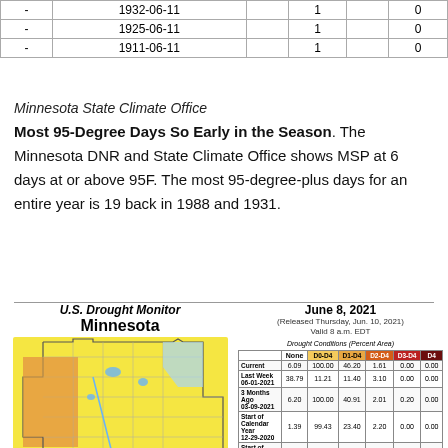| - | Date |  | 1 |  | 0 |
| --- | --- | --- | --- | --- | --- |
| - | 1932-06-11 |  | 1 |  | 0 |
| - | 1925-06-11 |  | 1 |  | 0 |
| - | 1911-06-11 |  | 1 |  | 0 |
Minnesota State Climate Office
Most 95-Degree Days So Early in the Season. The Minnesota DNR and State Climate Office shows MSP at 6 days at or above 95F. The most 95-degree-plus days for an entire year is 19 back in 1988 and 1931.
[Figure (map): U.S. Drought Monitor map of Minnesota as of June 8, 2021, showing drought conditions including abnormally dry (D0) and moderate drought (D1) areas in orange and yellow.]
|  | None | D0-D4 | D1-D4 | D2-D4 | D3-D4 | D4 |
| --- | --- | --- | --- | --- | --- | --- |
| Current | 6.09 | 100.00 | 46.20 | 1.61 | 0.00 | 0.00 |
| Last Week 06-01-2021 | 38.79 | 11.21 | 11.40 | 3.10 | 0.00 | 0.00 |
| 3 Months Ago 03-09-2021 | 6.20 | 100.00 | 40.91 | 2.01 | 0.20 | 0.00 |
| Start of Calendar Year 12-29-2020 | 1.39 | 99.43 | 23.40 | 2.20 | 0.00 | 0.00 |
| Start of Water Year 09-29-2020 | 84.80 | 46.00 | 8.60 | 0.00 | 0.00 | 0.00 |
| One Year Ago 06-09-2020 | 52.44 | 47.56 | 12.52 | 0.00 | 0.00 | 0.00 |